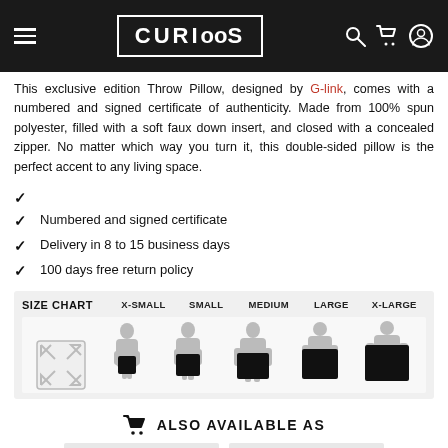CURIOOS
This exclusive edition Throw Pillow, designed by G-link, comes with a numbered and signed certificate of authenticity. Made from 100% spun polyester, filled with a soft faux down insert, and closed with a concealed zipper. No matter which way you turn it, this double-sided pillow is the perfect accent to any living space.
✔
✔  Numbered and signed certificate
✔  Delivery in 8 to 15 business days
✔  100 days free return policy
[Figure (infographic): Size chart showing X-SMALL, SMALL, MEDIUM, LARGE, X-LARGE throw pillow sizes with human silhouettes holding progressively larger dark pillows. An expand icon is on the left.]
ALSO AVAILABLE AS
[Figure (illustration): Two grey thumbnail boxes at the bottom representing product variant images.]